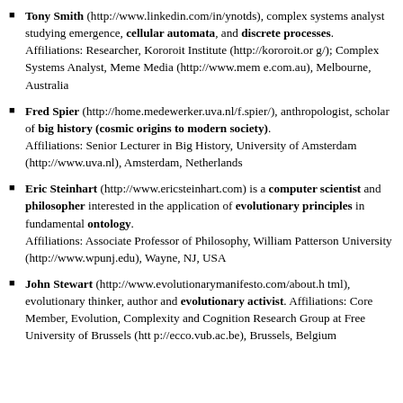Tony Smith (http://www.linkedin.com/in/ynotds), complex systems analyst studying emergence, cellular automata, and discrete processes. Affiliations: Researcher, Kororoit Institute (http://kororoit.org/); Complex Systems Analyst, Meme Media (http://www.meme.com.au), Melbourne, Australia
Fred Spier (http://home.medewerker.uva.nl/f.spier/), anthropologist, scholar of big history (cosmic origins to modern society). Affiliations: Senior Lecturer in Big History, University of Amsterdam (http://www.uva.nl), Amsterdam, Netherlands
Eric Steinhart (http://www.ericsteinhart.com) is a computer scientist and philosopher interested in the application of evolutionary principles in fundamental ontology. Affiliations: Associate Professor of Philosophy, William Patterson University (http://www.wpunj.edu), Wayne, NJ, USA
John Stewart (http://www.evolutionarymanifesto.com/about.html), evolutionary thinker, author and evolutionary activist. Affiliations: Core Member, Evolution, Complexity and Cognition Research Group at Free University of Brussels (http://ecco.vub.ac.be), Brussels, Belgium